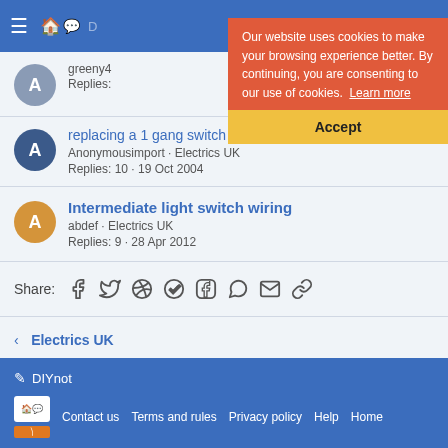DIYnot forum navigation bar
[Figure (screenshot): Cookie consent banner with red background stating 'Our website uses cookies to make your browsing experience better. By continuing, you are consenting to our use of cookies. Learn more' and a yellow Accept button]
replacing a 1 gang switch with a 2 gang switch — Anonymousimport · Electrics UK — Replies: 10 · 19 Oct 2004
Intermediate light switch wiring — abdef · Electrics UK — Replies: 9 · 28 Apr 2012
Share: (social icons: Facebook, Twitter, Reddit, Pinterest, Tumblr, WhatsApp, Email, Link)
< Electrics UK
DIYnot — Contact us  Terms and rules  Privacy policy  Help  Home